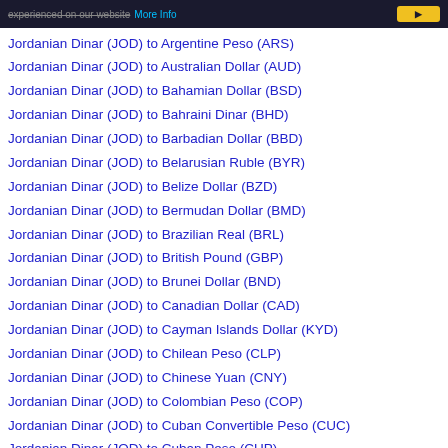experienced on our website More Info
Jordanian Dinar (JOD) to Argentine Peso (ARS)
Jordanian Dinar (JOD) to Australian Dollar (AUD)
Jordanian Dinar (JOD) to Bahamian Dollar (BSD)
Jordanian Dinar (JOD) to Bahraini Dinar (BHD)
Jordanian Dinar (JOD) to Barbadian Dollar (BBD)
Jordanian Dinar (JOD) to Belarusian Ruble (BYR)
Jordanian Dinar (JOD) to Belize Dollar (BZD)
Jordanian Dinar (JOD) to Bermudan Dollar (BMD)
Jordanian Dinar (JOD) to Brazilian Real (BRL)
Jordanian Dinar (JOD) to British Pound (GBP)
Jordanian Dinar (JOD) to Brunei Dollar (BND)
Jordanian Dinar (JOD) to Canadian Dollar (CAD)
Jordanian Dinar (JOD) to Cayman Islands Dollar (KYD)
Jordanian Dinar (JOD) to Chilean Peso (CLP)
Jordanian Dinar (JOD) to Chinese Yuan (CNY)
Jordanian Dinar (JOD) to Colombian Peso (COP)
Jordanian Dinar (JOD) to Cuban Convertible Peso (CUC)
Jordanian Dinar (JOD) to Cuban Peso (CUP)